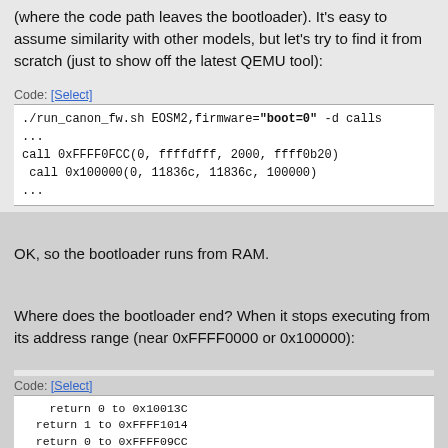(where the code path leaves the bootloader). It's easy to assume similarity with other models, but let's try to find it from scratch (just to show off the latest QEMU tool):
Code: [Select]
./run_canon_fw.sh EOSM2,firmware="boot=0" -d calls
...
call 0xFFFF0FCC(0, ffffdfff, 2000, ffff0b20)
 call 0x100000(0, 11836c, 11836c, 100000)
...
OK, so the bootloader runs from RAM.
Where does the bootloader end? When it stops executing from its address range (near 0xFFFF0000 or 0x100000):
Code: [Select]
return 0 to 0x10013C
  return 1 to 0xFFFF1014
  return 0 to 0xFFFF09CC
  Warning: R10 not restored (0xa -> 0x1)
  PC jump? 0xF80C0000 lr=ffff09cc
  0xffff0a04:  ela0f000      mov  pc, r0
  PC jump? 0xFF0C000C lr=ffff09cc
  0xf80c0000:  e59ff0c4      ldr  pc, [pc, #196]  ; 0xfffffffff80c